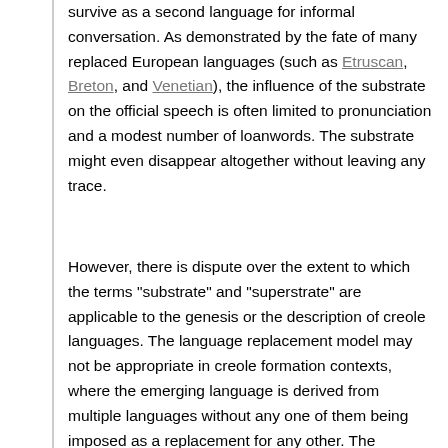survive as a second language for informal conversation. As demonstrated by the fate of many replaced European languages (such as Etruscan, Breton, and Venetian), the influence of the substrate on the official speech is often limited to pronunciation and a modest number of loanwords. The substrate might even disappear altogether without leaving any trace.
However, there is dispute over the extent to which the terms "substrate" and "superstrate" are applicable to the genesis or the description of creole languages. The language replacement model may not be appropriate in creole formation contexts, where the emerging language is derived from multiple languages without any one of them being imposed as a replacement for any other. The